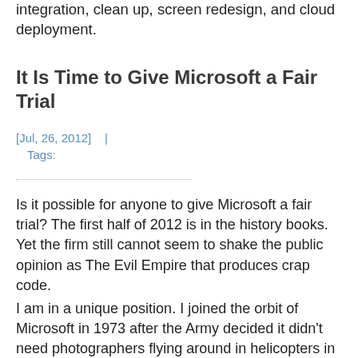integration, clean up, screen redesign, and cloud deployment.
It Is Time to Give Microsoft a Fair Trial
[Jul, 26, 2012]    |    Tags:
Is it possible for anyone to give Microsoft a fair trial? The first half of 2012 is in the history books. Yet the firm still cannot seem to shake the public opinion as The Evil Empire that produces crap code.
I am in a unique position. I joined the orbit of Microsoft in 1973 after the Army decided it didn't need photographers flying around in helicopters in Vietnam anymore. I